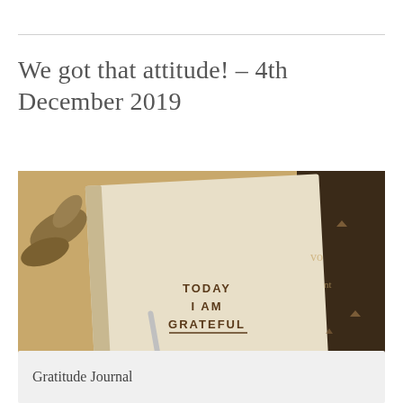We got that attitude! – 4th December 2019
[Figure (photo): Sepia-toned photo of a gratitude journal open to a page reading 'TODAY I AM GRATEFUL', with a pen beside it and leaves in the background]
LEAVE A COMMENT
Gratitude Journal